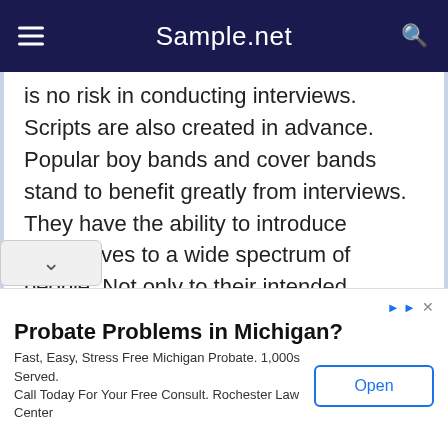Sample.net
is no risk in conducting interviews. Scripts are also created in advance. Popular boy bands and cover bands stand to benefit greatly from interviews. They have the ability to introduce themselves to a wide spectrum of people. Not only to their intended audience, but to everybody who subscribed to the channel. This comprises TV channels as well as video-streaming website channels. In most cases, interviews comprise of basic questions. As a way, it would be a good first step toward successfully introducing themselves to the rest of the globe. And television shows have developed to include comedic sketches as well as games. Which can make an artist appear
Probate Problems in Michigan? Fast, Easy, Stress Free Michigan Probate. 1,000s Served. Call Today For Your Free Consult. Rochester Law Center